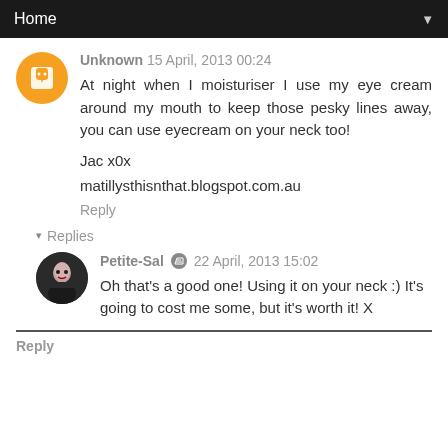Home
Unknown 15 April, 2013 00:24
At night when I moisturiser I use my eye cream around my mouth to keep those pesky lines away, you can use eyecream on your neck too!

Jac x0x

matillysthisnthat.blogspot.com.au

Reply
▾ Replies
Petite-Sal 22 April, 2013 15:02
Oh that's a good one! Using it on your neck :) It's going to cost me some, but it's worth it! X
Reply